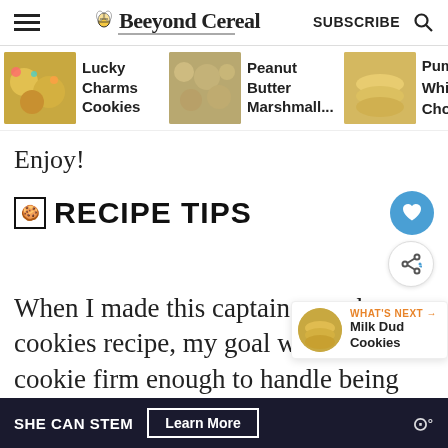Beeyond Cereal — SUBSCRIBE
[Figure (photo): Horizontal scrollable recipe strip with thumbnails: Lucky Charms Cookies, Peanut Butter Marshmall..., Pumpkin White Chocolate (partially visible)]
Enjoy!
RECIPE TIPS
When I made this captain crunch cookies recipe, my goal was to cookie firm enough to handle being di...
[Figure (photo): What's Next callout: Milk Dud Cookies with circular cookie thumbnail]
SHE CAN STEM — Learn More